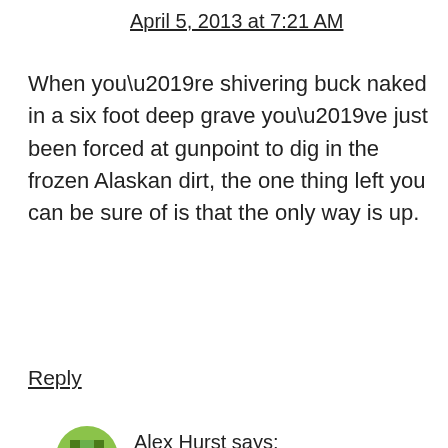April 5, 2013 at 7:21 AM
When you’re shivering buck naked in a six foot deep grave you’ve just been forced at gunpoint to dig in the frozen Alaskan dirt, the one thing left you can be sure of is that the only way is up.
Reply
[Figure (illustration): Green pixel/avatar icon for commenter Alex Hurst]
Alex Hurst says:
April 5, 2013 at 7:31 AM
Here’s my entry:
Blood.
Reply